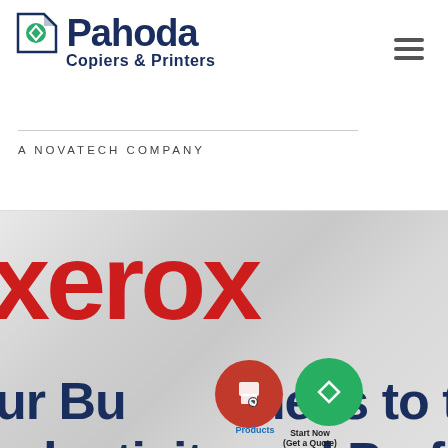[Figure (logo): Pahoda Copiers & Printers logo with green circular icon containing a white diamond shape, dark navy blue text, subtitle 'Copiers & Printers']
A NOVATECH COMPANY
[Figure (logo): Xerox brand logo in large red bold lowercase text on blurred gray background]
ur Business to the Ne
oductivity and Perform
[Figure (other): Red circular floating button with printer/search icon, and green circular button with diamond icon labeled 'Start Now (Get a Quote)' and 'Products']